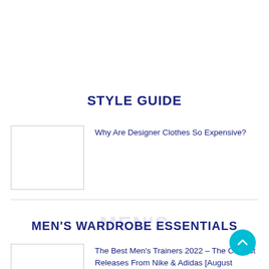STYLE GUIDE
[Figure (photo): Thumbnail image placeholder for 'Why Are Designer Clothes So Expensive?' article]
Why Are Designer Clothes So Expensive?
MEN'S WARDROBE ESSENTIALS
[Figure (photo): Thumbnail image placeholder for 'The Best Men's Trainers 2022' article]
The Best Men's Trainers 2022 – The Coolest Releases From Nike & Adidas [August Update]